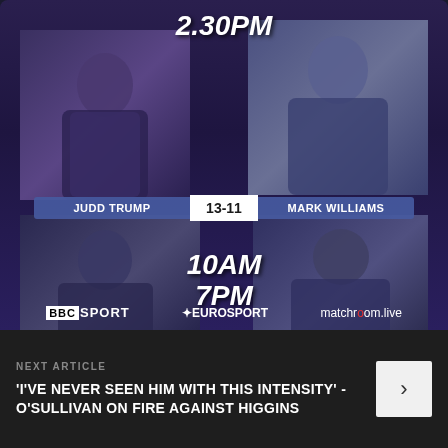[Figure (infographic): Snooker match schedule graphic showing two matches: Judd Trump 13-11 Mark Williams at 2.30PM, and Ronnie O'Sullivan 10-6 John Higgins at 10AM/7PM. Broadcast logos for BBC Sport, Eurosport, and matchroom.live shown at bottom.]
NEXT ARTICLE
'I'VE NEVER SEEN HIM WITH THIS INTENSITY' - O'SULLIVAN ON FIRE AGAINST HIGGINS